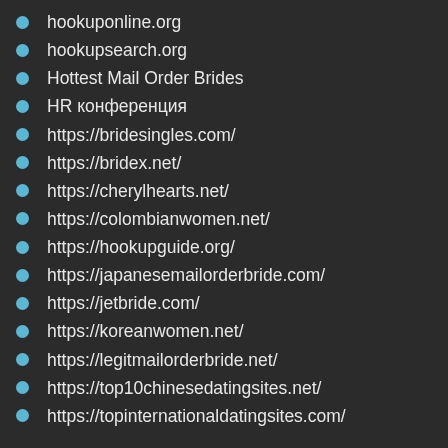hookuponline.org
hookupsearch.org
Hottest Mail Order Brides
HR конференция
https://bridesingles.com/
https://bridex.net/
https://cherylhearts.net/
https://colombianwomen.net/
https://hookupguide.org/
https://japanesemailorderbride.com/
https://jetbride.com/
https://koreanwomen.net/
https://legitmailorderbride.net/
https://top10chinesedatingsites.net/
https://topinternationaldatingsites.com/